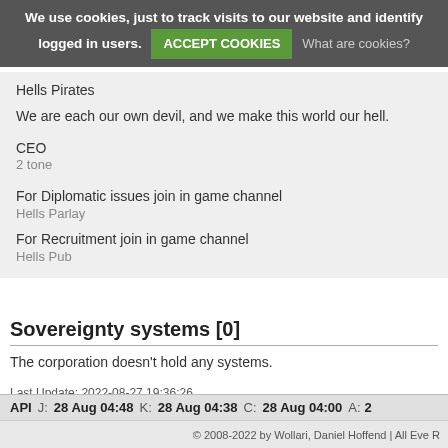We use cookies, just to track visits to our website and identify logged in users. ACCEPT COOKIES What are cookies?
Hells Pirates
We are each our own devil, and we make this world our hell.
CEO
2 tone
For Diplomatic issues join in game channel
Hells Parlay
For Recruitment join in game channel
Hells Pub
Sovereignty systems [0]
The corporation doesn't hold any systems.
Last Update: 2022-08-27 19:36:26
API  J:  28 Aug 04:48  K:  28 Aug 04:38  C:  28 Aug 04:00  A:  2  © 2008-2022 by Wollari, Daniel Hoffend | All Eve R